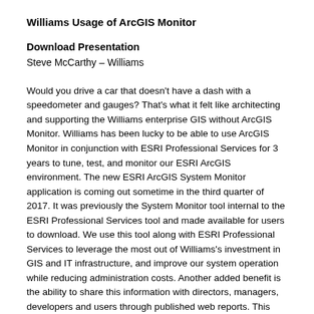Williams Usage of ArcGIS Monitor
Download Presentation
Steve McCarthy – Williams
Would you drive a car that doesn't have a dash with a speedometer and gauges? That's what it felt like architecting and supporting the Williams enterprise GIS without ArcGIS Monitor. Williams has been lucky to be able to use ArcGIS Monitor in conjunction with ESRI Professional Services for 3 years to tune, test, and monitor our ESRI ArcGIS environment. The new ESRI ArcGIS System Monitor application is coming out sometime in the third quarter of 2017. It was previously the System Monitor tool internal to the ESRI Professional Services tool and made available for users to download. We use this tool along with ESRI Professional Services to leverage the most out of Williams's investment in GIS and IT infrastructure, and improve our system operation while reducing administration costs. Another added benefit is the ability to share this information with directors, managers, developers and users through published web reports. This presentation will walk you through how Williams uses and